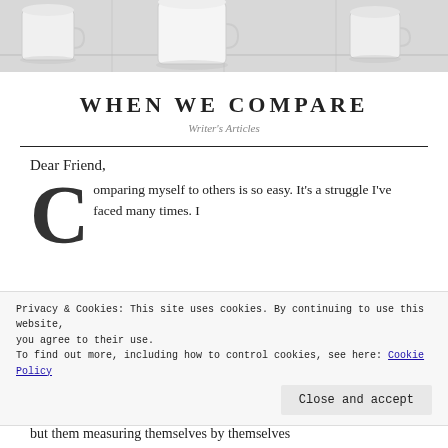[Figure (photo): Hero image showing white ceramic mugs on a white surface, light grey tones]
WHEN WE COMPARE
Writer's Articles
Dear Friend,
Comparing myself to others is so easy. It's a struggle I've faced many times. I
Privacy & Cookies: This site uses cookies. By continuing to use this website, you agree to their use.
To find out more, including how to control cookies, see here: Cookie Policy
Close and accept
but them measuring themselves by themselves